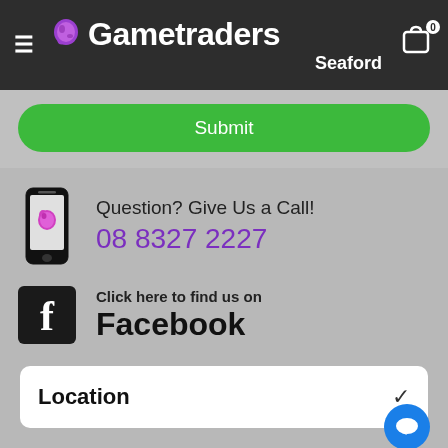[Figure (logo): Gametraders Seaford logo with hamburger menu and cart icon on dark header]
[Figure (screenshot): Green Submit button on grey background]
Question? Give Us a Call!
08 8327 2227
Click here to find us on Facebook
Location
Add to cart